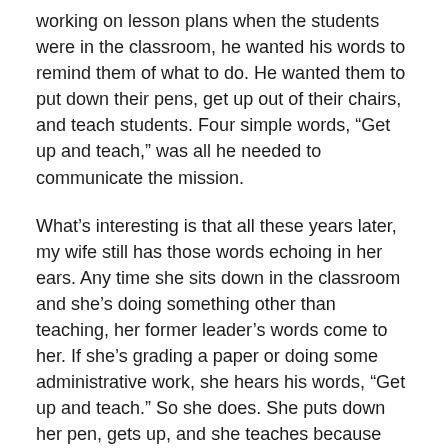working on lesson plans when the students were in the classroom, he wanted his words to remind them of what to do. He wanted them to put down their pens, get up out of their chairs, and teach students. Four simple words, “Get up and teach,” was all he needed to communicate the mission.
What’s interesting is that all these years later, my wife still has those words echoing in her ears. Any time she sits down in the classroom and she’s doing something other than teaching, her former leader’s words come to her. If she’s grading a paper or doing some administrative work, she hears his words, “Get up and teach.” So she does. She puts down her pen, gets up, and she teaches because she knows that’s really what she’s there to do. These four simple words have stood the test of time. A mission statement she will never forget.